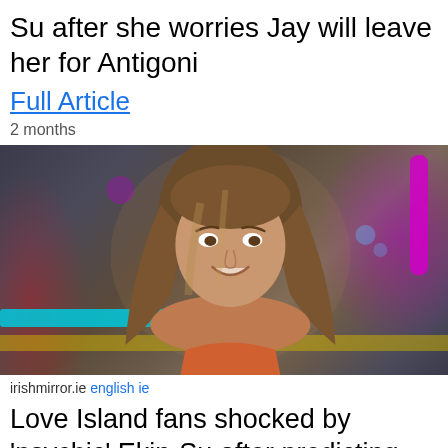Su after she worries Jay will leave her for Antigoni
Full Article
2 months
[Figure (photo): Woman with long brown/blonde hair smiling, indoors with colorful bokeh lights in background (pink neon, cyan bar, yellow accent). Reality TV show setting.]
irishmirror.ie english ie
Love Island fans shocked by 'psychic' Ekin-Su after predicting Jacques